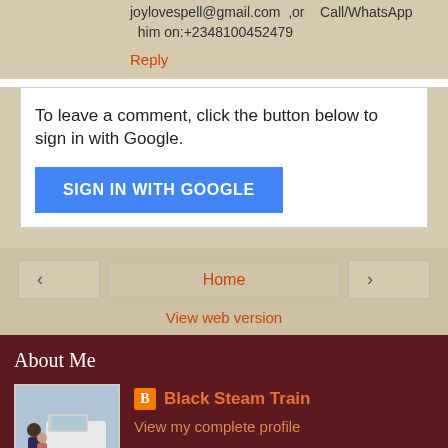joylovespell@gmail.com ,or Call/WhatsApp him on:+2348100452479
Reply
To leave a comment, click the button below to sign in with Google.
[Figure (screenshot): Blue button labeled SIGN IN WITH GOOGLE]
[Figure (other): Navigation row with back arrow, Home button, forward arrow]
View web version
About Me
[Figure (photo): Profile photo showing people near a white vehicle]
Black Steam Train
View my complete profile
Powered by Blogger.